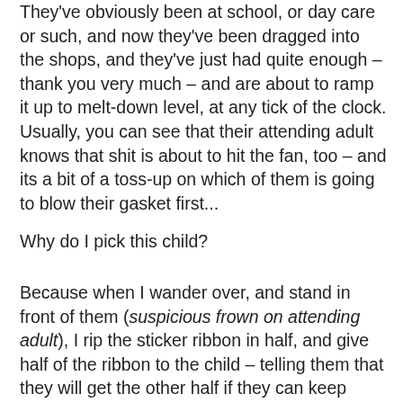They've obviously been at school, or day care or such, and now they've been dragged into the shops, and they've just had quite enough – thank you very much – and are about to ramp it up to melt-down level, at any tick of the clock.
Usually, you can see that their attending adult knows that shit is about to hit the fan, too – and its a bit of a toss-up on which of them is going to blow their gasket first...
Why do I pick this child?
Because when I wander over, and stand in front of them (suspicious frown on attending adult), I rip the sticker ribbon in half, and give half of the ribbon to the child – telling them that they will get the other half if they can keep being really nicely behaved – just like they are now, until they get the groceries